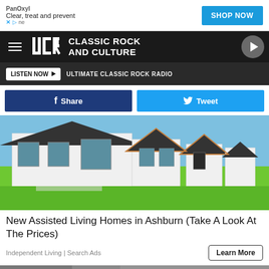[Figure (screenshot): PanOxyl advertisement banner with 'Clear, treat and prevent' tagline and SHOP NOW button]
[Figure (logo): UCR Classic Rock and Culture website navigation bar with hamburger menu and play button]
LISTEN NOW  ULTIMATE CLASSIC ROCK RADIO
Share
Tweet
[Figure (photo): Row of modern white homes with dark roofs and green lawn]
New Assisted Living Homes in Ashburn (Take A Look At The Prices)
Independent Living | Search Ads
Learn More
[Figure (photo): Partial view of another advertisement image at the bottom]